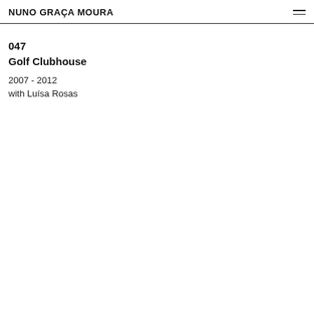NUNO GRAÇA MOURA
047
Golf Clubhouse
2007 - 2012
with Luísa Rosas